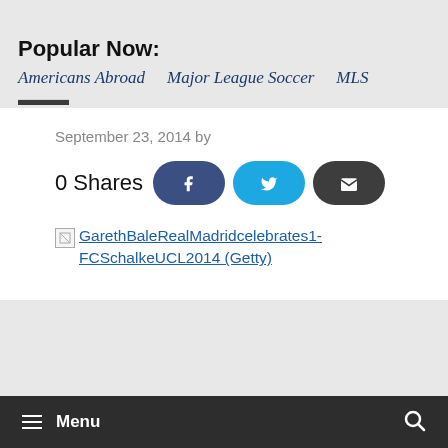Popular Now:
Americans Abroad   Major League Soccer   MLS
September 23, 2014 by
0 Shares
[Figure (screenshot): Social share buttons: Facebook (dark blue), Twitter (cyan), Email (dark grey)]
[Figure (photo): Broken image placeholder with link text: GarethBaleRealMadridcelebrates1-FCSchalkeUCL2014 (Getty)]
Menu